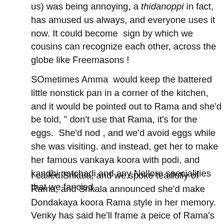us) was being annoying, a thidanoppi in fact, has amused us always, and everyone uses it now. It could become sign by which we cousins can recognize each other, across the globe like Freemasons !
SOmetimes Amma would keep the battered little nonstick pan in a corner of the kitchen, and it would be pointed out to Rama and she'd be told, " don't use that Rama, it's for the eggs. She'd nod , and we'd avoid eggs while she was visiting. and instead, get her to make her famous vankaya koora with podi, and kandhi patchadi and any Nellore specialities that we fancied.
I called Srikala, and we spoke tearfully of Rama, and Srikala announced she'd make Dondakaya koora Rama style in her memory. Venky has said he'll frame a peice of Rama's crochetHe ha and hang it up in the living room. He spoke reminiscently of ompodi , and cats and one summer of mango picking Nandini remembered, the